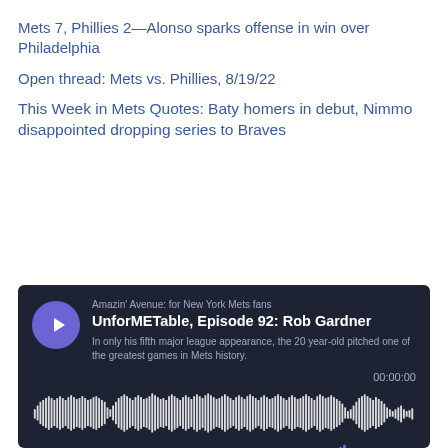Mets 7, Phillies 2—Alonso sparks offense in win over Philadelphia
Open thread: Mets vs. Phillies, 8/19/22
This Week in Mets Quotes: Baty homers in debut, Nimmo disappointed dropping series to Braves
[Figure (screenshot): Megaphone podcast player widget for 'UnforMETable, Episode 92: Rob Gardner' from Amazin' Avenue: for New York Mets fans. Shows waveform, time 00:00:00, SHARE/SUBSCRIBE/COOKIE POLICY/DESCRIPTION controls, Megaphone branding, playlist section showing 784 EPISODES, and first episode item 'UnforMETable, Episode 92: Rob Gardner 26 min'.]